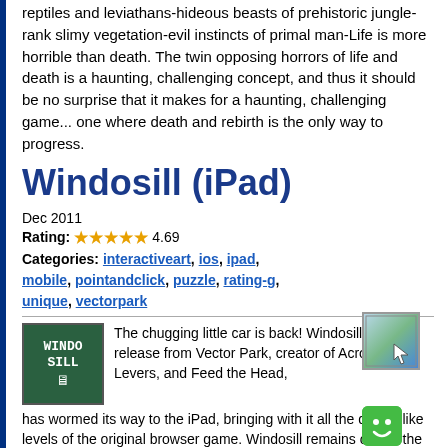reptiles and leviathans-hideous beasts of prehistoric jungle-rank slimy vegetation-evil instincts of primal man-Life is more horrible than death. The twin opposing horrors of life and death is a haunting, challenging concept, and thus it should be no surprise that it makes for a haunting, challenging game... one where death and rebirth is the only way to progress.
Windosill (iPad)
Dec 2011
Rating: ★★★★★ 4.69
Categories: interactiveart, ios, ipad, mobile, pointandclick, puzzle, rating-g, unique, vectorpark
The chugging little car is back! Windosill, a 2009 release from Vector Park, creator of Acrobots, Levers, and Feed the Head, has wormed its way to the iPad, bringing with it all the dream-like levels of the original browser game. Windosill remains one of the most charming experiences any casual player could hope to stumble upon, and it's a perfect fit for the